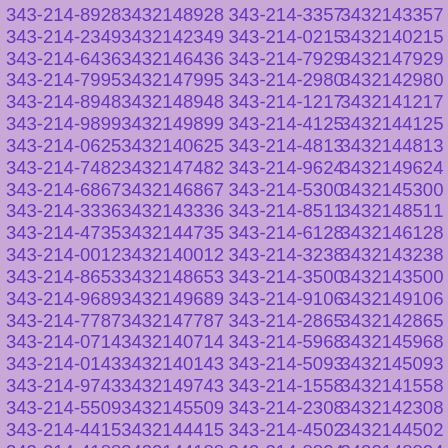343-214-8928 3432148928 343-214-3357 3432143357 343-214-2349 3432142349 343-214-0215 3432140215 343-214-6436 3432146436 343-214-7929 3432147929 343-214-7995 3432147995 343-214-2980 3432142980 343-214-8948 3432148948 343-214-1217 3432141217 343-214-9899 3432149899 343-214-4125 3432144125 343-214-0625 3432140625 343-214-4813 3432144813 343-214-7482 3432147482 343-214-9624 3432149624 343-214-6867 3432146867 343-214-5300 3432145300 343-214-3336 3432143336 343-214-8511 3432148511 343-214-4735 3432144735 343-214-6128 3432146128 343-214-0012 3432140012 343-214-3238 3432143238 343-214-8653 3432148653 343-214-3500 3432143500 343-214-9689 3432149689 343-214-9106 3432149106 343-214-7787 3432147787 343-214-2865 3432142865 343-214-0714 3432140714 343-214-5968 3432145968 343-214-0143 3432140143 343-214-5093 3432145093 343-214-9743 3432149743 343-214-1558 3432141558 343-214-5509 3432145509 343-214-2308 3432142308 343-214-4415 3432144415 343-214-4502 3432144502 343-214-4188 3432144188 343-214-8824 3432148824